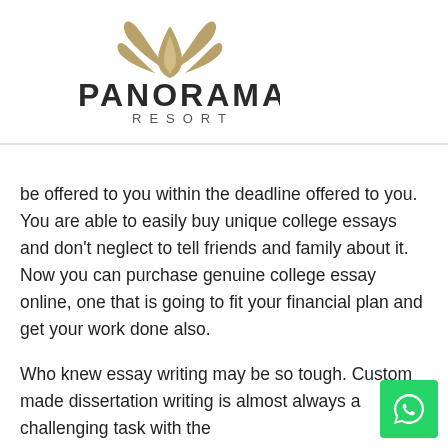[Figure (logo): Panorama Resort logo with gold leaf/flame design above the text PANORAMA RESORT]
be offered to you within the deadline offered to you. You are able to easily buy unique college essays and don't neglect to tell friends and family about it. Now you can purchase genuine college essay online, one that is going to fit your financial plan and get your work done also.
Who knew essay writing may be so tough. Custom made dissertation writing is almost always a challenging task with the